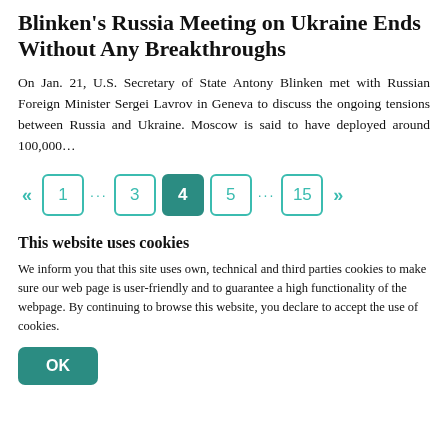Blinken's Russia Meeting on Ukraine Ends Without Any Breakthroughs
On Jan. 21, U.S. Secretary of State Antony Blinken met with Russian Foreign Minister Sergei Lavrov in Geneva to discuss the ongoing tensions between Russia and Ukraine. Moscow is said to have deployed around 100,000...
[Figure (other): Pagination control showing pages: « 1 … 3 4 (active) 5 … 15 »]
This website uses cookies
We inform you that this site uses own, technical and third parties cookies to make sure our web page is user-friendly and to guarantee a high functionality of the webpage. By continuing to browse this website, you declare to accept the use of cookies.
OK